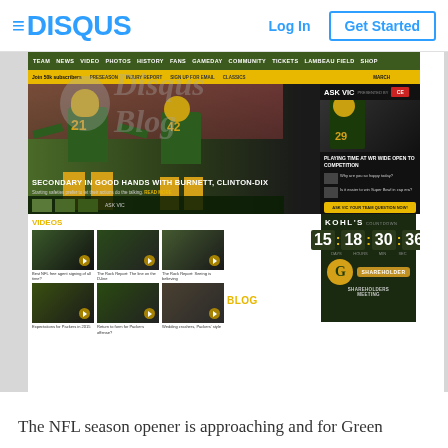[Figure (screenshot): Disqus header bar with logo (hamburger + DISQUS wordmark in blue), Log In button, and Get Started button with blue border]
[Figure (screenshot): Green Bay Packers website screenshot showing navigation bar, hero image of players #21 and #42 with headline 'SECONDARY IN GOOD HANDS WITH BURNETT, CLINTON-DIX', Ask Vic sidebar with 'PLAYING TIME AT WR WIDE OPEN TO COMPETITION', videos section with 6 video thumbnails, Kohl's countdown showing 15 days 18 hours 30 min 36 sec, and Shareholders Meeting logo area. Disqus Blog watermark overlaid. Bottom text reads 'The NFL season opener is approaching and for Green']
The NFL season opener is approaching and for Green